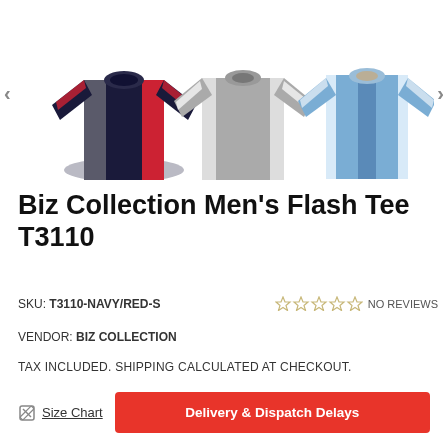[Figure (photo): Three men's athletic t-shirts displayed side by side: navy/red/grey colorway on left, grey/white colorway in center, blue/white colorway on right. Navigation arrows on sides.]
Biz Collection Men's Flash Tee T3110
SKU: T3110-NAVY/RED-S    NO REVIEWS
VENDOR: BIZ COLLECTION
TAX INCLUDED. SHIPPING CALCULATED AT CHECKOUT.
Size Chart
Delivery & Dispatch Delays